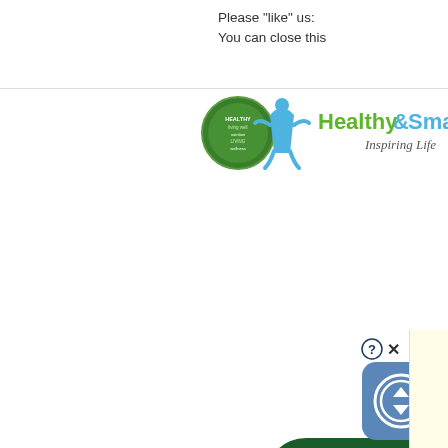Please "like" us:
You can close this
[Figure (logo): Healthy & Smart Living logo with green circle emblem and text 'Healthy & Smart Living - Inspiring Life']
[Figure (screenshot): Download Now button with right arrow, dark green rounded rectangle]
off
[Figure (other): Scroll/navigation button icon, blue rounded square with up-down arrows]